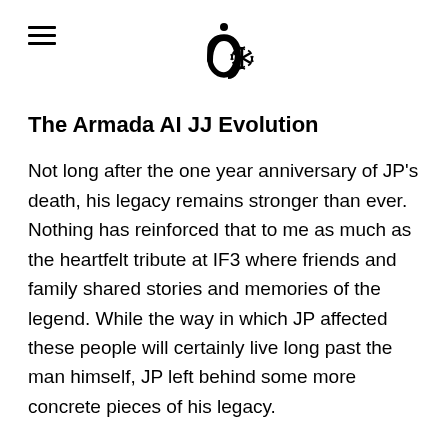ai [logo icon]
The Armada AI JJ Evolution
Not long after the one year anniversary of JP's death, his legacy remains stronger than ever. Nothing has reinforced that to me as much as the heartfelt tribute at IF3 where friends and family shared stories and memories of the legend. While the way in which JP affected these people will certainly live long past the man himself, JP left behind some more concrete pieces of his legacy.